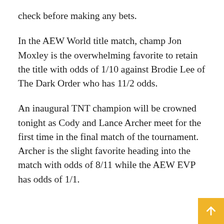check before making any bets.
In the AEW World title match, champ Jon Moxley is the overwhelming favorite to retain the title with odds of 1/10 against Brodie Lee of The Dark Order who has 11/2 odds.
An inaugural TNT champion will be crowned tonight as Cody and Lance Archer meet for the first time in the final match of the tournament. Archer is the slight favorite heading into the match with odds of 8/11 while the AEW EVP has odds of 1/1.